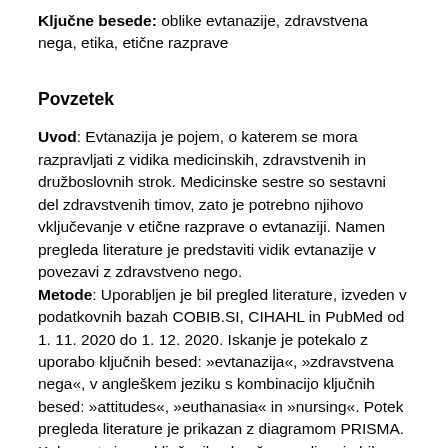Ključne besede: oblike evtanazije, zdravstvena nega, etika, etične razprave
Povzetek
Uvod: Evtanazija je pojem, o katerem se mora razpravljati z vidika medicinskih, zdravstvenih in družboslovnih strok. Medicinske sestre so sestavni del zdravstvenih timov, zato je potrebno njihovo vključevanje v etične razprave o evtanaziji. Namen pregleda literature je predstaviti vidik evtanazije v povezavi z zdravstveno nego. Metode: Uporabljen je bil pregled literature, izveden v podatkovnih bazah COBIB.SI, CIHAHL in PubMed od 1. 11. 2020 do 1. 12. 2020. Iskanje je potekalo z uporabo ključnih besed: »evtanazija«, »zdravstvena nega«, v angleškem jeziku s kombinacijo ključnih besed: »attitudes«, »euthanasia« in »nursing«. Potek pregleda literature je prikazan z diagramom PRISMA. Kakovost virov, vključenih v končno analizo, je bila